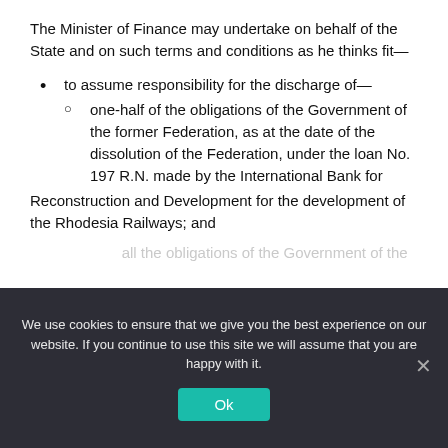The Minister of Finance may undertake on behalf of the State and on such terms and conditions as he thinks fit—
to assume responsibility for the discharge of—
one-half of the obligations of the Government of the former Federation, as at the date of the dissolution of the Federation, under the loan No. 197 R.N. made by the International Bank for
Reconstruction and Development for the development of the Rhodesia Railways; and
[truncated continuation]
We use cookies to ensure that we give you the best experience on our website. If you continue to use this site we will assume that you are happy with it.